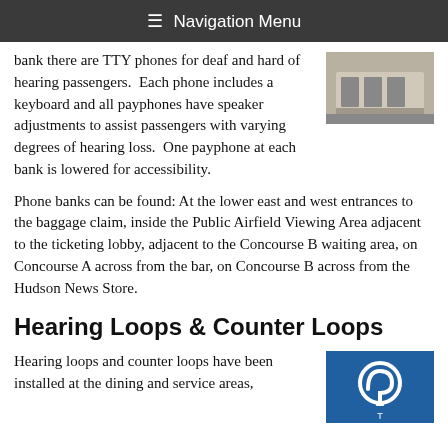≡ Navigation Menu
bank there are TTY phones for deaf and hard of hearing passengers.  Each phone includes a keyboard and all payphones have speaker adjustments to assist passengers with varying degrees of hearing loss.  One payphone at each bank is lowered for accessibility.
[Figure (photo): Photo of payphone bank installation in airport]
Phone banks can be found: At the lower east and west entrances to the baggage claim, inside the Public Airfield Viewing Area adjacent to the ticketing lobby, adjacent to the Concourse B waiting area, on Concourse A across from the bar, on Concourse B across from the Hudson News Store.
Hearing Loops & Counter Loops
Hearing loops and counter loops have been installed at the dining and service areas,
[Figure (photo): Photo of hearing loop accessibility sign — blue background with ear and T symbol]